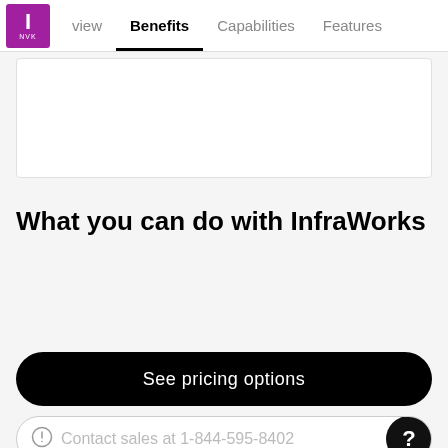view | Benefits | Capabilities | Features
[Figure (screenshot): Partially visible white card area below navigation]
What you can do with InfraWorks
See pricing options
Contact sales at 1-844-595-8402